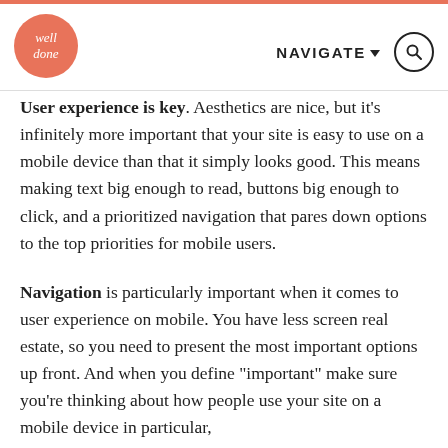well done | NAVIGATE
User experience is key. Aesthetics are nice, but it’s infinitely more important that your site is easy to use on a mobile device than that it simply looks good. This means making text big enough to read, buttons big enough to click, and a prioritized navigation that pares down options to the top priorities for mobile users.
Navigation is particularly important when it comes to user experience on mobile. You have less screen real estate, so you need to present the most important options up front. And when you define “important” make sure you’re thinking about how people use your site on a mobile device in particular,